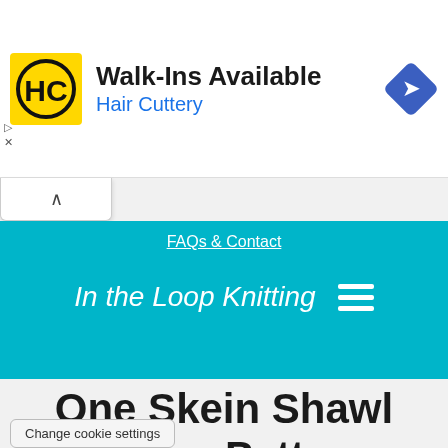[Figure (screenshot): Hair Cuttery advertisement banner with logo, headline 'Walk-Ins Available', subtext 'Hair Cuttery', and a blue navigation arrow icon]
FAQs & Contact
In the Loop Knitting
One Skein Shawl Knitting Patterns
Change cookie settings